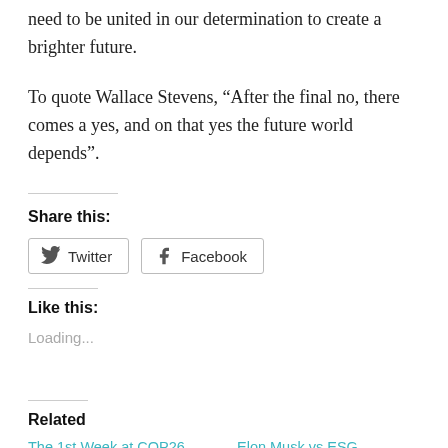need to be united in our determination to create a brighter future.
To quote Wallace Stevens, “After the final no, there comes a yes, and on that yes the future world depends”.
Share this:
[Figure (other): Twitter and Facebook share buttons]
Like this:
Loading...
Related
The 1st Week at COP26 – ‘News’worthy or...
Elon Musk vs ESG
June 30, 2022